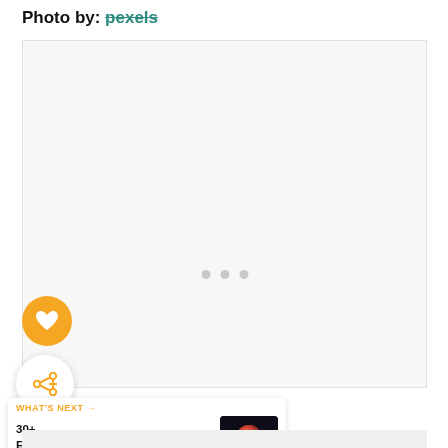Photo by: pexels
[Figure (photo): Large empty/loading photo area with three gray dots in center indicating loading state]
[Figure (illustration): Orange circular heart/like button]
[Figure (illustration): White circular share button with orange share icon]
WHAT'S NEXT → 30+ Exhilarating...